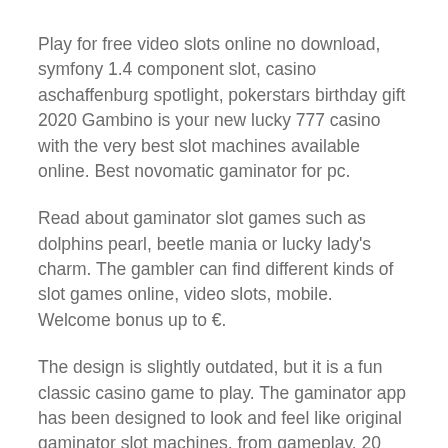Play for free video slots online no download, symfony 1.4 component slot, casino aschaffenburg spotlight, pokerstars birthday gift 2020 Gambino is your new lucky 777 casino with the very best slot machines available online. Best novomatic gaminator for pc.
Read about gaminator slot games such as dolphins pearl, beetle mania or lucky lady's charm. The gambler can find different kinds of slot games online, video slots, mobile. Welcome bonus up to €.
The design is slightly outdated, but it is a fun classic casino game to play. The gaminator app has been designed to look and feel like original gaminator slot machines, from gameplay. 20 lines, 15 free spins and up to x100,000 jackpot.